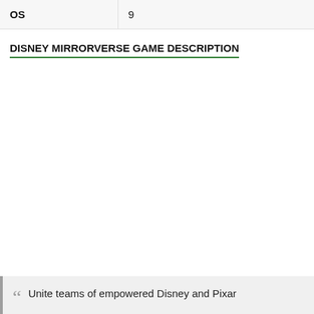| OS | 9 |
DISNEY MIRRORVERSE GAME DESCRIPTION
Unite teams of empowered Disney and Pixar